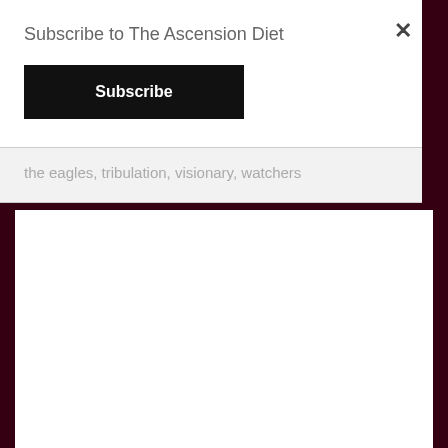Subscribe to The Ascension Diet
Subscribe
the eagles, tribulation, visionary, watchers